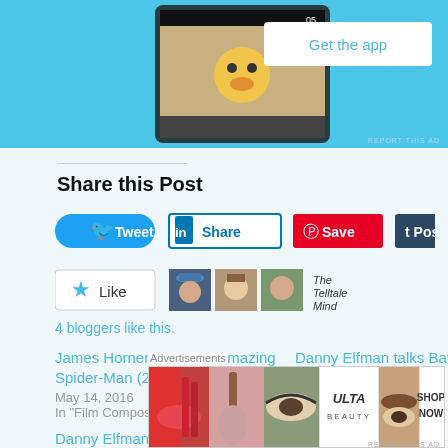[Figure (screenshot): Top banner ad showing a mobile app screenshot with a dog emoji filter and a 'Get the app' button on light blue background]
Share this Post
[Figure (infographic): Social sharing buttons: Tweet (Twitter), Share (LinkedIn), Save (Pinterest), Post (Tumblr)]
[Figure (infographic): Like button with star icon, three blogger avatar photos, and 'The Telltale Mind' label text]
4 bloggers like this.
James Horner talks The Amazing Spider-Man (2012)
May 14, 2016
In "Film Composer"
Danny Elfman talks Batman Returns (1992)
July 28, 2016
In "Film Composer"
Danny Elfman talks Alice in
[Figure (infographic): Bottom advertisement banner for ULTA beauty with makeup imagery and SHOP NOW text]